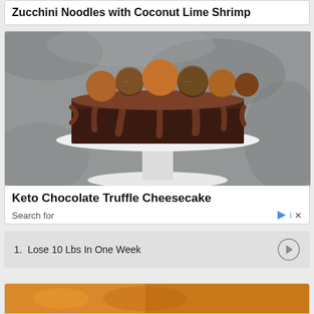Zucchini Noodles with Coconut Lime Shrimp
[Figure (photo): A chocolate cake on a white pedestal cake stand, topped with chocolate truffles dusted in cocoa powder and coated in chopped nuts, with chocolate ganache dripping down the sides. Background is grey stone texture.]
Keto Chocolate Truffle Cheesecake
Search for
1.  Lose 10 Lbs In One Week
[Figure (photo): Partial view of a food item, orange/golden colored, visible at bottom of page.]